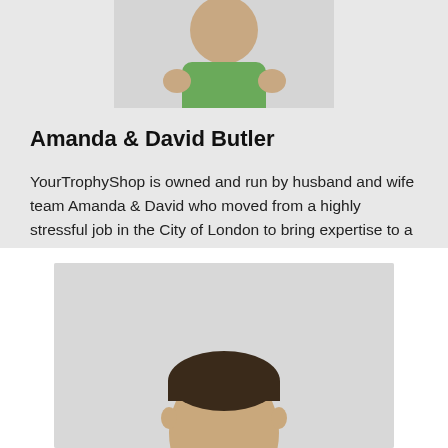[Figure (photo): Partial photo of a person with arms crossed, wearing a green shirt, cropped at top of page]
Amanda & David Butler
YourTrophyShop is owned and run by husband and wife team Amanda & David who moved from a highly stressful job in the City of London to bring expertise to a customer facing business within the beautiful county of Devon.
Originally working alone they quickly built a business that required more assistance. Initially looking to their own family to expand the team they have now built a home grown team all trained to their own exacting standards.
[Figure (photo): Partial photo of a person's head with dark hair, cropped at bottom of page]